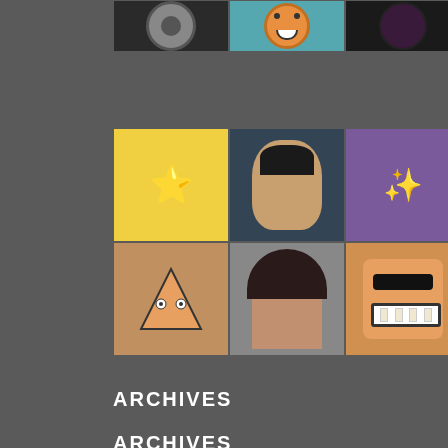[Figure (photo): Top strip of small avatar/profile images: film reel, cartoon face, berry/seed circle, cat face, dark swordsman logo, circular character, yellow diamond face. Two rows below: row of cartoon character avatars and real photos. Bottom row: cartoon triangle, person with dark hair, cartoon face with sunglasses, man photo, green triangle face, woman with pink hair, small dog photo.]
ARCHIVES
[Figure (screenshot): Select Month dropdown control with white background]
CATEGORIES
[Figure (screenshot): Select Category dropdown control with white background]